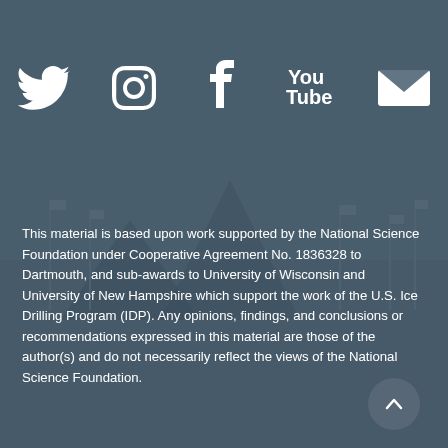[Figure (illustration): Five social media icons in white on a muted blue-grey background: Twitter bird, Instagram camera, Facebook f, YouTube logo, and envelope/email icon.]
This material is based upon work supported by the National Science Foundation under Cooperative Agreement No. 1836328 to Dartmouth, and sub-awards to University of Wisconsin and University of New Hampshire which support the work of the U.S. Ice Drilling Program (IDP). Any opinions, findings, and conclusions or recommendations expressed in this material are those of the author(s) and do not necessarily reflect the views of the National Science Foundation.